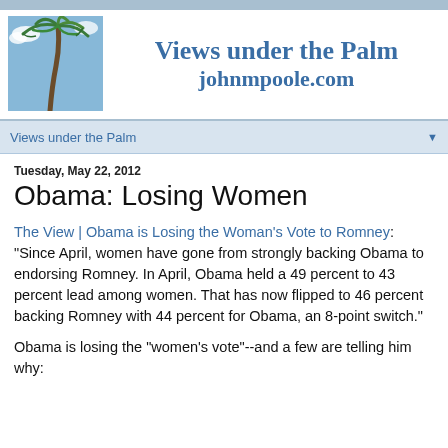[Figure (photo): Palm tree photo against blue sky used as blog header image]
Views under the Palm
johnmpoole.com
Views under the Palm
Tuesday, May 22, 2012
Obama: Losing Women
The View | Obama is Losing the Woman's Vote to Romney: "Since April, women have gone from strongly backing Obama to endorsing Romney. In April, Obama held a 49 percent to 43 percent lead among women. That has now flipped to 46 percent backing Romney with 44 percent for Obama, an 8-point switch."
Obama is losing the "women's vote"--and a few are telling him why: